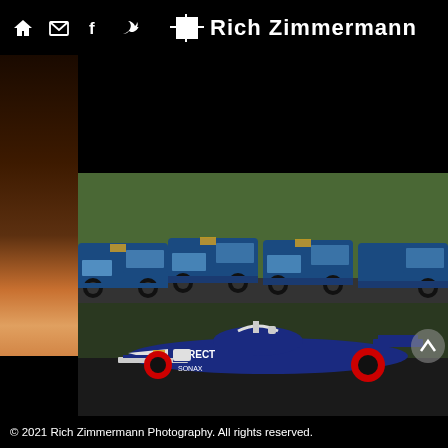Rich Zimmermann
[Figure (photo): Website screenshot showing navigation bar with home, email, Facebook, and bird/share icons, and 'Rich Zimmermann' branding with logo box, on a black background. Below is a photograph of an IndyCar racing car with 'DIRECT' sponsorship on a racetrack with a row of blue Chevrolet pickup trucks lined up in the background on a grassy hill.]
© 2021 Rich Zimmermann Photography. All rights reserved.